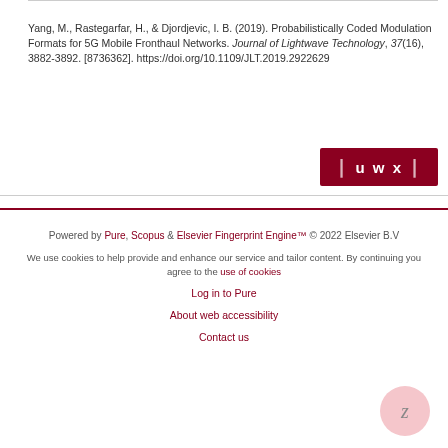Yang, M., Rastegarfar, H., & Djordjevic, I. B. (2019). Probabilistically Coded Modulation Formats for 5G Mobile Fronthaul Networks. Journal of Lightwave Technology, 37(16), 3882-3892. [8736362]. https://doi.org/10.1109/JLT.2019.2922629
[Figure (logo): UWX badge logo in dark red/maroon background with white text showing bracket symbols and letters u w x]
Powered by Pure, Scopus & Elsevier Fingerprint Engine™ © 2022 Elsevier B.V

We use cookies to help provide and enhance our service and tailor content. By continuing you agree to the use of cookies

Log in to Pure

About web accessibility

Contact us